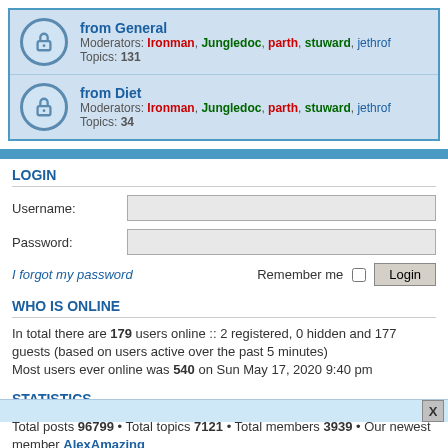from General
Moderators: Ironman, Jungledoc, parth, stuward, jethrof
Topics: 131
from Diet
Moderators: Ironman, Jungledoc, parth, stuward, jethrof
Topics: 34
LOGIN
Username:
Password:
I forgot my password    Remember me  Login
WHO IS ONLINE
In total there are 179 users online :: 2 registered, 0 hidden and 177 guests (based on users active over the past 5 minutes)
Most users ever online was 540 on Sun May 17, 2020 9:40 pm
STATISTICS
Total posts 96799 • Total topics 7121 • Total members 3939 • Our newest member AlexAmazing